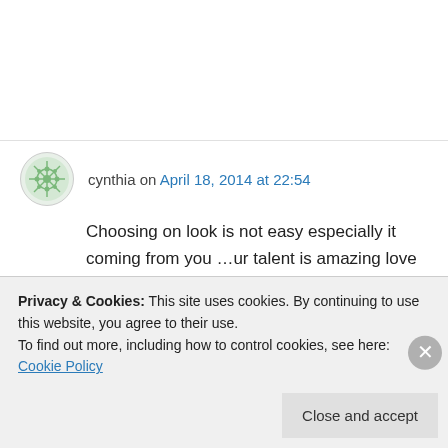cynthia on April 18, 2014 at 22:54
Choosing on look is not easy especially it coming from you …ur talent is amazing love ur work xD
↳ Reply
Helga on April 18, 2014 at 22:54
Privacy & Cookies: This site uses cookies. By continuing to use this website, you agree to their use.
To find out more, including how to control cookies, see here: Cookie Policy
Close and accept